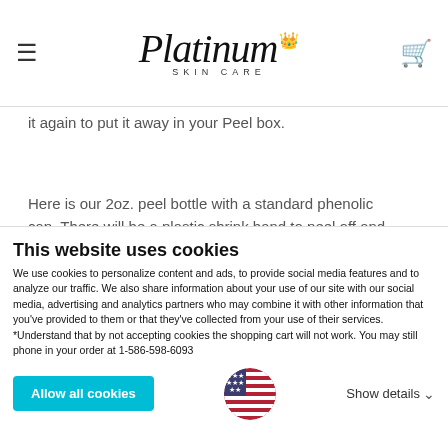Platinum Skin Care — navigation header with hamburger menu and cart icon
it again to put it away in your Peel box.
Here is our 2oz. peel bottle with a standard phenolic cap. There will be a plastic shrink band to peel off and then just twist to open and reclose again.
This website uses cookies
We use cookies to personalize content and ads, to provide social media features and to analyze our traffic. We also share information about your use of our site with our social media, advertising and analytics partners who may combine it with other information that you've provided to them or that they've collected from your use of their services. *Understand that by not accepting cookies the shopping cart will not work. You may still phone in your order at 1-586-598-6093
[Figure (illustration): USA flag circle icon]
Allow all cookies
Show details